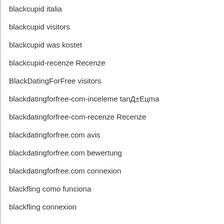blackcupid italia
blackcupid visitors
blackcupid was kostet
blackcupid-recenze Recenze
BlackDatingForFree visitors
blackdatingforfree-com-inceleme tanД±Eцma
blackdatingforfree-com-recenze Recenze
blackdatingforfree.com avis
blackdatingforfree.com bewertung
blackdatingforfree.com connexion
blackfling como funciona
blackfling connexion